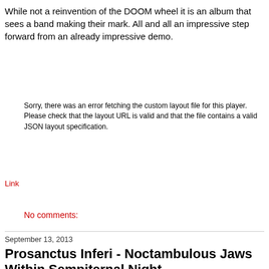While not a reinvention of the DOOM wheel it is an album that sees a band making their mark. All and all an impressive step forward from an already impressive demo.
Sorry, there was an error fetching the custom layout file for this player. Please check that the layout URL is valid and that the file contains a valid JSON layout specification.
Link
No comments:
September 13, 2013
Prosanctus Inferi - Noctambulous Jaws Within Sempiternal Night